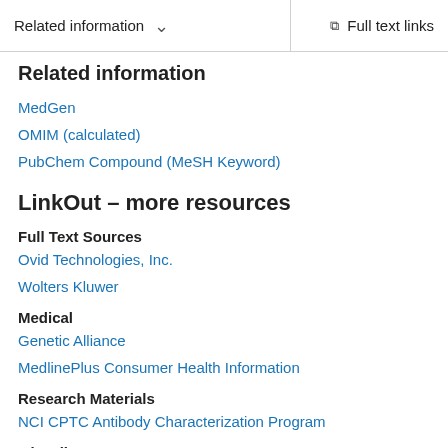Related information   ∨   Full text links
Related information
MedGen
OMIM (calculated)
PubChem Compound (MeSH Keyword)
LinkOut – more resources
Full Text Sources
Ovid Technologies, Inc.
Wolters Kluwer
Medical
Genetic Alliance
MedlinePlus Consumer Health Information
Research Materials
NCI CPTC Antibody Characterization Program
Miscellaneous